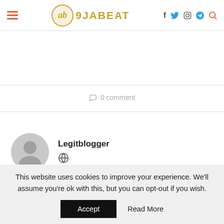9JABEAT - navigation header with hamburger menu, logo, social icons (Facebook, Twitter, Instagram, Telegram, Search)
0 comment
[Figure (illustration): Generic user avatar - gray circle with silhouette of person]
Legitblogger
[Figure (other): Globe/website icon]
This website uses cookies to improve your experience. We'll assume you're ok with this, but you can opt-out if you wish.
Accept   Read More